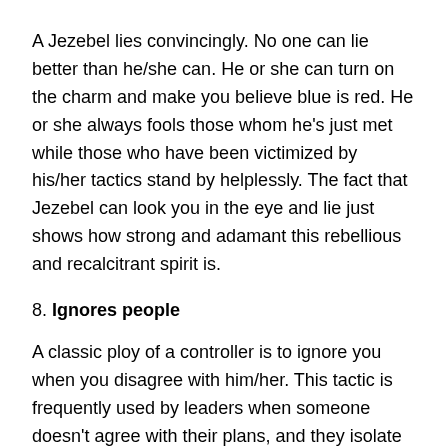A Jezebel lies convincingly. No one can lie better than he/she can. He or she can turn on the charm and make you believe blue is red. He or she always fools those whom he's just met while those who have been victimized by his/her tactics stand by helplessly. The fact that Jezebel can look you in the eye and lie just shows how strong and adamant this rebellious and recalcitrant spirit is.
8. Ignores people
A classic ploy of a controller is to ignore you when you disagree with him/her. This tactic is frequently used by leaders when someone doesn't agree with their plans, and they isolate the person by ignoring him/her. Some in these situations have been ignored for months, just because they chose not to be a puppet and say to every idea or